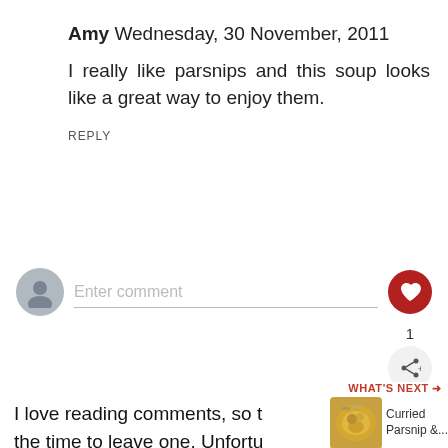Amy Wednesday, 30 November, 2011
I really like parsnips and this soup looks like a great way to enjoy them.
REPLY
[Figure (other): Comment input field with avatar, placeholder text 'Enter comment', and a red heart button]
1
[Figure (other): Share button icon]
I love reading comments, so thank you for taking the time to leave one. Unfortunately, I'm bombarded with spam, so I've turned on comment moderation. I'll publish your comments as soon as I can and respond to them
[Figure (other): What's Next widget showing Curried Parsnip &... with food photo thumbnail]